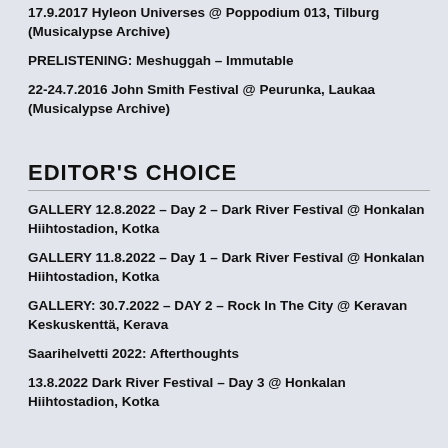17.9.2017 Hyleon Universes @ Poppodium 013, Tilburg (Musicalypse Archive)
PRELISTENING: Meshuggah – Immutable
22-24.7.2016 John Smith Festival @ Peurunka, Laukaa (Musicalypse Archive)
EDITOR'S CHOICE
GALLERY 12.8.2022 – Day 2 – Dark River Festival @ Honkalan Hiihtostadion, Kotka
GALLERY 11.8.2022 – Day 1 – Dark River Festival @ Honkalan Hiihtostadion, Kotka
GALLERY: 30.7.2022 – DAY 2 – Rock In The City @ Keravan Keskuskenttä, Kerava
Saarihelvetti 2022: Afterthoughts
13.8.2022 Dark River Festival – Day 3 @ Honkalan Hiihtostadion, Kotka